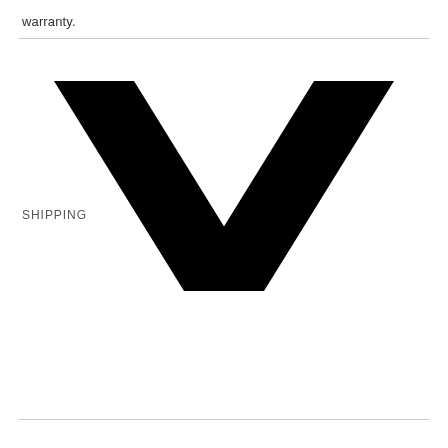warranty.
SHIPPING
[Figure (illustration): Large black chevron / downward-pointing arrow mark centered on the page]